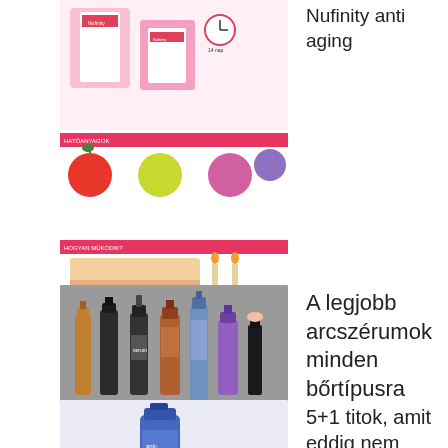[Figure (infographic): Nufinity anti aging product infographic showing pink/white supplement boxes, tomato and natural ingredients, skin layer diagram, before/after skin comparison, and skin type icons in pink theme]
Nufinity anti aging
[Figure (photo): Photo of multiple skincare serum bottles (amber, dark, blue/purple) lined up on a gray surface]
A legjobb arcszérumok minden bőrtípusra
[Figure (photo): Light purple/white background with a blue skincare product bottle, partially visible]
5+1 titok, amit eddig nem tudtál az anti-aging-ről - Bőrápolás Akadémia